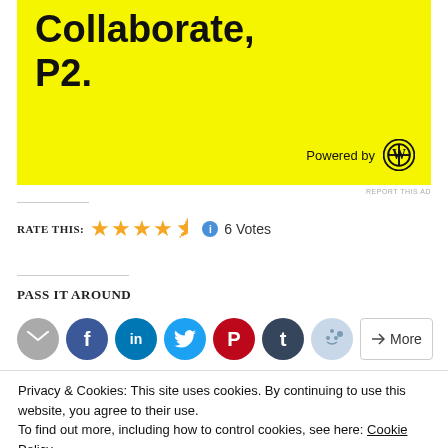[Figure (illustration): Yellow advertisement banner with large bold black text reading 'Collaborate, P2.' and 'Powered by' with WordPress logo]
REPORT THIS AD
Rate This: ★★★★½ ℹ 6 Votes
Pass it Around
[Figure (infographic): Row of social sharing buttons: email, Facebook, LinkedIn, Twitter, Pinterest, Tumblr, Reddit, More]
Privacy & Cookies: This site uses cookies. By continuing to use this website, you agree to their use.
To find out more, including how to control cookies, see here: Cookie Policy
Close and accept
Related